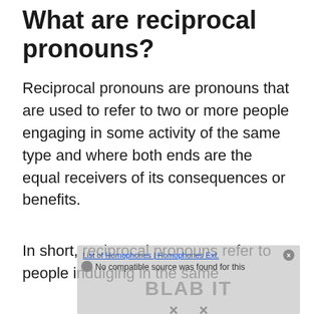What are reciprocal pronouns?
Reciprocal pronouns are pronouns that are used to refer to two or more people engaging in some activity of the same type and where both ends are the equal receivers of its consequences or benefits.
In short, reciprocal pronouns refer to people indulging in the same
[Figure (other): A video player overlay popup with title 'List of Homophones | Homophones Ext.' and message 'No compatible source was found for this', with branding text 'BLAB IT' and close buttons.]